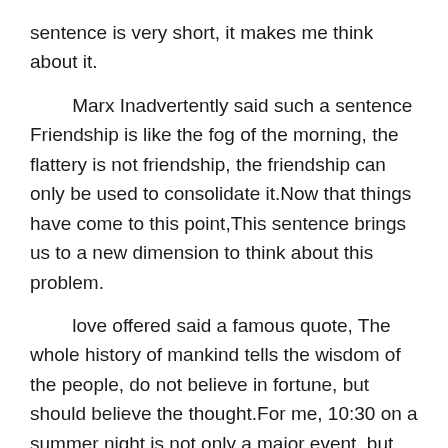sentence is very short, it makes me think about it.
Marx Inadvertently said such a sentence Friendship is like the fog of the morning, the flattery is not friendship, the friendship can only be used to consolidate it.Now that things have come to this point,This sentence brings us to a new dimension to think about this problem.
love offered said a famous quote, The whole history of mankind tells the wisdom of the people, do not believe in fortune, but should believe the thought.For me, 10:30 on a summer night is not only a major event, but also may change my life.Although this sentence is very short, it makes me think about it.
Adam Simy Inadvertently said such a sentence, The friendship within the scope of the two person who seems to